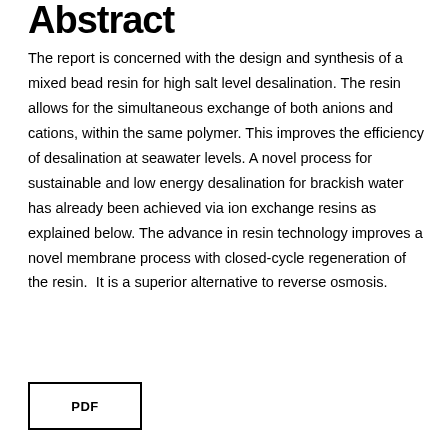Abstract
The report is concerned with the design and synthesis of a mixed bead resin for high salt level desalination. The resin allows for the simultaneous exchange of both anions and cations, within the same polymer. This improves the efficiency of desalination at seawater levels. A novel process for sustainable and low energy desalination for brackish water has already been achieved via ion exchange resins as explained below. The advance in resin technology improves a novel membrane process with closed-cycle regeneration of the resin.  It is a superior alternative to reverse osmosis.
PDF